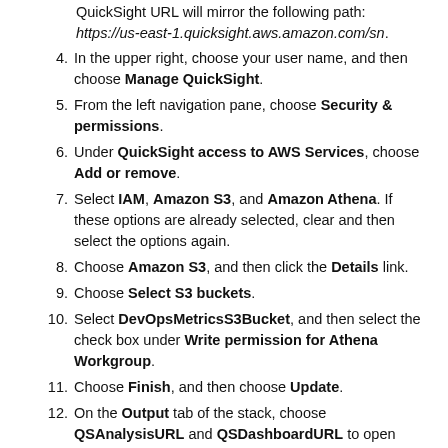(continuation) QuickSight URL will mirror the following path: https://us-east-1.quicksight.aws.amazon.com/sn.
4. In the upper right, choose your user name, and then choose Manage QuickSight.
5. From the left navigation pane, choose Security & permissions.
6. Under QuickSight access to AWS Services, choose Add or remove.
7. Select IAM, Amazon S3, and Amazon Athena. If these options are already selected, clear and then select the options again.
8. Choose Amazon S3, and then click the Details link.
9. Choose Select S3 buckets.
10. Select DevOpsMetricsS3Bucket, and then select the check box under Write permission for Athena Workgroup.
11. Choose Finish, and then choose Update.
12. On the Output tab of the stack, choose QSAnalysisURL and QSDashboardURL to open dashboard and analysis. You can also navigate to them in the QuickSight console. The solution creates one analysis, one dashboard, and a few